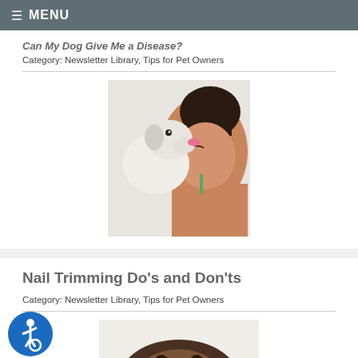≡ MENU
Can My Dog Give Me a Disease?
Category: Newsletter Library, Tips for Pet Owners
[Figure (photo): A white puppy licking a woman's face, woman holds puppy close with eyes closed]
Can a few affectionate licks from your dog make you sick?
READ MORE
Nail Trimming Do's and Don'ts
Category: Newsletter Library, Tips for Pet Owners
[Figure (photo): A dog's head partially visible at bottom of page]
[Figure (illustration): Blue accessibility icon with wheelchair symbol]